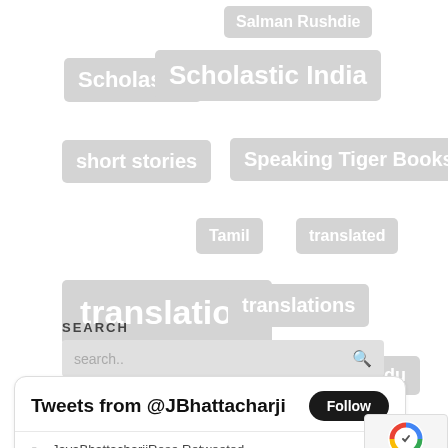[Figure (infographic): Tag cloud with terms: Salman Rushdie, Scholastic, Scholastic India, short stories, Speaking Tiger Books, Tamil, translated, translation, translations, translator, Urdu, yalit, Zubaan]
SEARCH
search..
Tweets from @JBhattacharji
JayaBhattacharjiRose Retweeted
Fitzgerraldo Edit... @Fitzgerold 2m